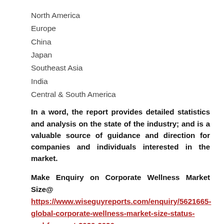North America
Europe
China
Japan
Southeast Asia
India
Central & South America
In a word, the report provides detailed statistics and analysis on the state of the industry; and is a valuable source of guidance and direction for companies and individuals interested in the market.
Make Enquiry on Corporate Wellness Market Size@ https://www.wiseguyreports.com/enquiry/5621665-global-corporate-wellness-market-size-status-and-forecast-2020-2026